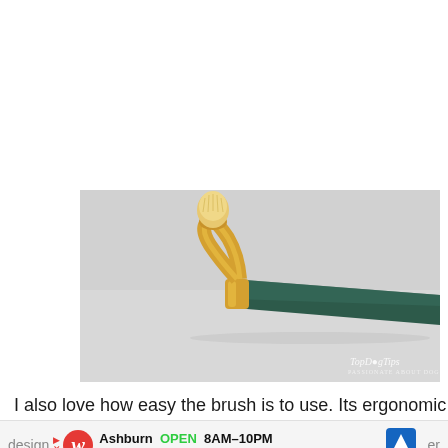[Figure (photo): Close-up photo of a pet grooming brush with a gold-colored curved handle and dark green grip, showing the brush head with soft bristles. TopDogTips watermark visible in bottom right corner.]
I also love how easy the brush is to use. Its ergonomic
design ... er
hairs ...